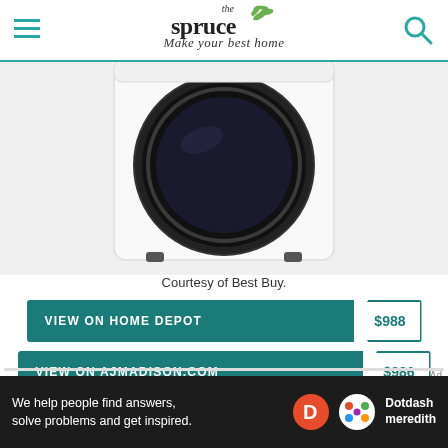the spruce — Make your best home
[Figure (photo): Front-loading washing machine, white with black door, partial top view cropped]
Courtesy of Best Buy.
VIEW ON HOME DEPOT $988
VIEW ON AJMADISON.COM $986
VIEW ON BEST BUY $690
Ad — We help people find answers, solve problems and get inspired. Dotdash meredith